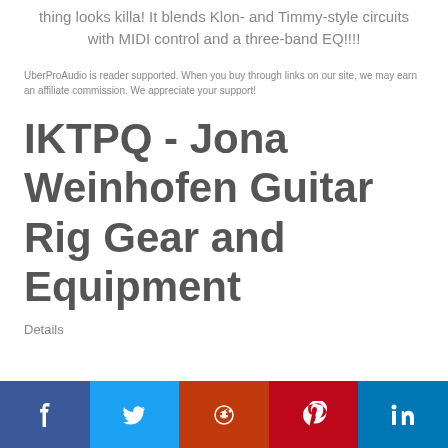thing looks killa! It blends Klon- and Timmy-style circuits with MIDI control and a three-band EQ!!!!
UberProAudio is reader supported. When you buy through links on our site, we may earn an affiliate commission. We appreciate your support!
IKTPQ - Jona Weinhofen Guitar Rig Gear and Equipment
Details
...